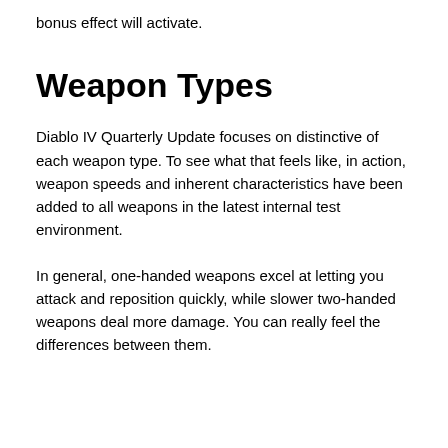bonus effect will activate.
Weapon Types
Diablo IV Quarterly Update focuses on distinctive of each weapon type. To see what that feels like, in action, weapon speeds and inherent characteristics have been added to all weapons in the latest internal test environment.
In general, one-handed weapons excel at letting you attack and reposition quickly, while slower two-handed weapons deal more damage. You can really feel the differences between them.